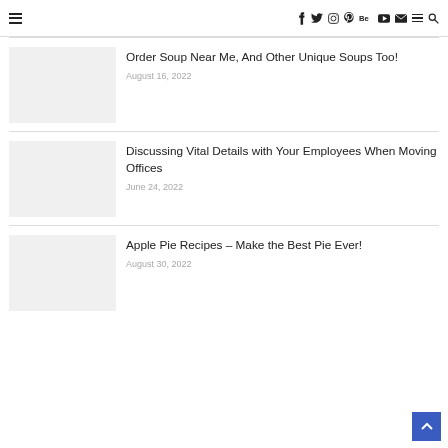Navigation bar with hamburger menu and social icons (f, twitter, instagram, pinterest, behance, youtube, mail, menu, search)
Order Soup Near Me, And Other Unique Soups Too! — August 16, 2022
Discussing Vital Details with Your Employees When Moving Offices — June 24, 2022
Apple Pie Recipes – Make the Best Pie Ever! — August 30, 2022